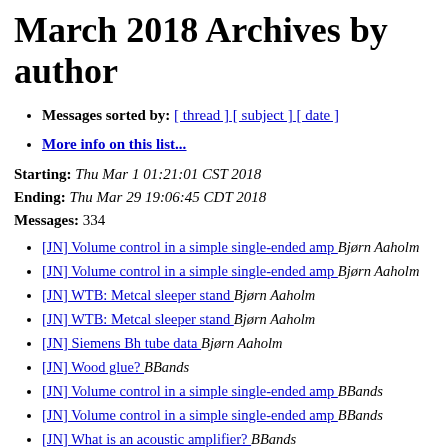March 2018 Archives by author
Messages sorted by: [ thread ] [ subject ] [ date ]
More info on this list...
Starting: Thu Mar 1 01:21:01 CST 2018
Ending: Thu Mar 29 19:06:45 CDT 2018
Messages: 334
[JN] Volume control in a simple single-ended amp  Bjørn Aaholm
[JN] Volume control in a simple single-ended amp  Bjørn Aaholm
[JN] WTB: Metcal sleeper stand  Bjørn Aaholm
[JN] WTB: Metcal sleeper stand  Bjørn Aaholm
[JN] Siemens Bh tube data  Bjørn Aaholm
[JN] Wood glue?  BBands
[JN] Volume control in a simple single-ended amp  BBands
[JN] Volume control in a simple single-ended amp  BBands
[JN] What is an acoustic amplifier?  BBands
[JN] Wood glue?  BBands
[JN] What is an acoustic amplifier?  BBands